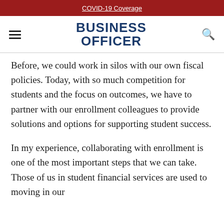COVID-19 Coverage
BUSINESS OFFICER
Before, we could work in silos with our own fiscal policies. Today, with so much competition for students and the focus on outcomes, we have to partner with our enrollment colleagues to provide solutions and options for supporting student success.
In my experience, collaborating with enrollment is one of the most important steps that we can take. Those of us in student financial services are used to moving in our